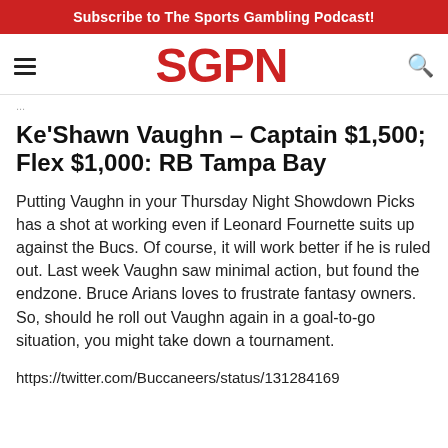Subscribe to The Sports Gambling Podcast!
[Figure (logo): SGPN logo in red bold text with hamburger menu icon on left and search icon on right]
Ke'Shawn Vaughn – Captain $1,500; Flex $1,000: RB Tampa Bay
Putting Vaughn in your Thursday Night Showdown Picks has a shot at working even if Leonard Fournette suits up against the Bucs. Of course, it will work better if he is ruled out. Last week Vaughn saw minimal action, but found the endzone. Bruce Arians loves to frustrate fantasy owners. So, should he roll out Vaughn again in a goal-to-go situation, you might take down a tournament.
https://twitter.com/Buccaneers/status/131284169